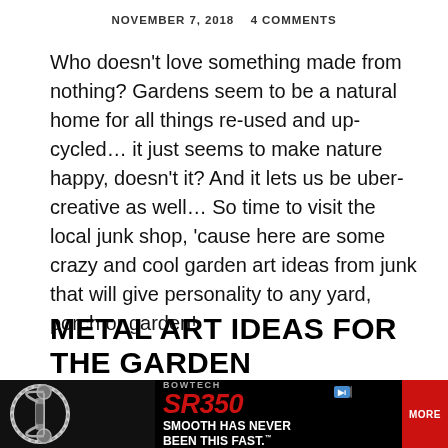NOVEMBER 7, 2018   4 COMMENTS
Who doesn't love something made from nothing? Gardens seem to be a natural home for all things re-used and up-cycled… it just seems to make nature happy, doesn't it? And it lets us be uber-creative as well… So time to visit the local junk shop, 'cause here are some crazy and cool garden art ideas from junk that will give personality to any yard, porch or garden!
METAL ART IDEAS FOR THE GARDEN
[Figure (other): Bowtech SR350 advertisement banner with bow graphic on the left and text: BOWTECH / SR350 / SMOOTH HAS NEVER BEEN THIS FAST. / MORE button]